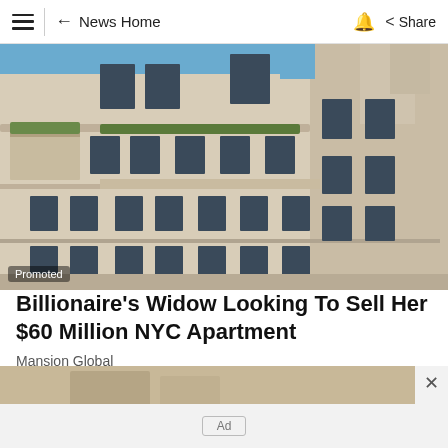≡  ← News Home  🔔  Share
[Figure (photo): Upward angle photo of a large white Art Deco apartment building facade with ornate balconies and blue sky in upper right corner. A 'Promoted' badge appears in the lower left.]
Billionaire's Widow Looking To Sell Her $60 Million NYC Apartment
Mansion Global
[Figure (photo): Partially visible image at the bottom of the screen (cropped), appearing to show a person or interior scene in muted tones.]
Ad